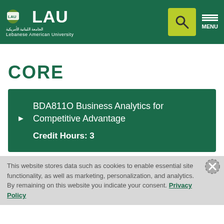LAU Lebanese American University
CORE
BDA811O Business Analytics for Competitive Advantage
Credit Hours: 3
This website stores data such as cookies to enable essential site functionality, as well as marketing, personalization, and analytics. By remaining on this website you indicate your consent. Privacy Policy